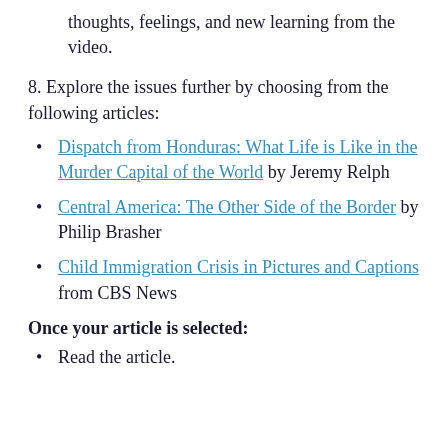thoughts, feelings, and new learning from the video.
8. Explore the issues further by choosing from the following articles:
Dispatch from Honduras: What Life is Like in the Murder Capital of the World by Jeremy Relph
Central America: The Other Side of the Border by Philip Brasher
Child Immigration Crisis in Pictures and Captions from CBS News
Once your article is selected:
Read the article.